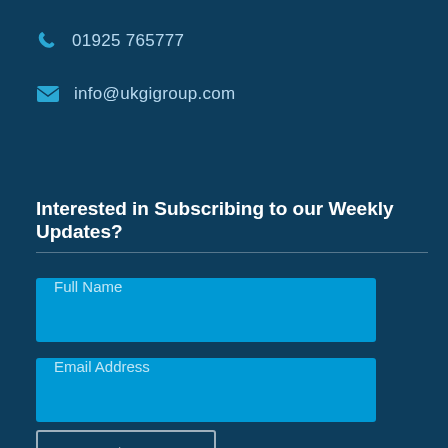01925 765777
info@ukgigroup.com
Interested in Subscribing to our Weekly Updates?
Full Name
Email Address